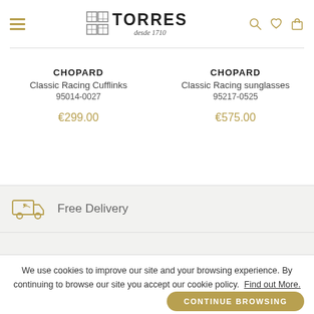TORRES desde 1710 — navigation header with hamburger menu and search/wish/bag icons
CHOPARD
Classic Racing Cufflinks
95014-0027
€299.00
CHOPARD
Classic Racing sunglasses
95217-0525
€575.00
Free Delivery
We use cookies to improve our site and your browsing experience. By continuing to browse our site you accept our cookie policy. Find out More.
CONTINUE BROWSING